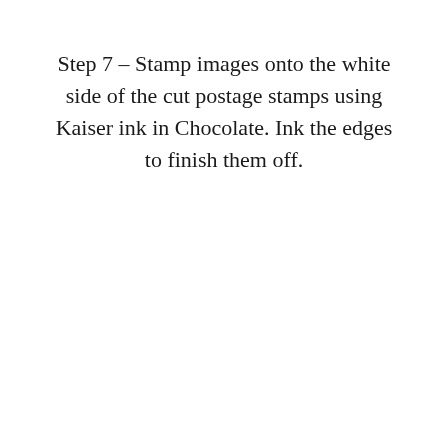Step 7 – Stamp images onto the white side of the cut postage stamps using Kaiser ink in Chocolate. Ink the edges to finish them off.